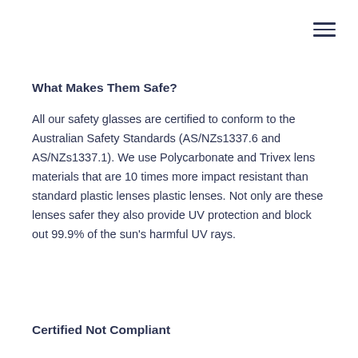What Makes Them Safe?
All our safety glasses are certified to conform to the Australian Safety Standards (AS/NZs1337.6 and AS/NZs1337.1). We use Polycarbonate and Trivex lens materials that are 10 times more impact resistant than standard plastic lenses plastic lenses. Not only are these lenses safer they also provide UV protection and block out 99.9% of the sun's harmful UV rays.
Certified Not Compliant